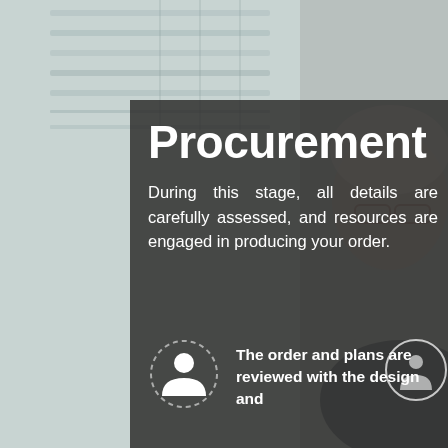[Figure (photo): Background photo of an office environment with window blinds and a blurred person wearing glasses on the right side. A semi-transparent dark overlay panel covers the center and right portions of the image.]
Procurement
During this stage, all details are carefully assessed, and resources are engaged in producing your order.
The order and plans are reviewed with the design and
[Figure (illustration): A dashed circle icon containing a person/user silhouette icon in white, representing a role or personnel.]
[Figure (illustration): A solid-outlined circle on the right side, partially visible, containing a small arrow or person icon.]